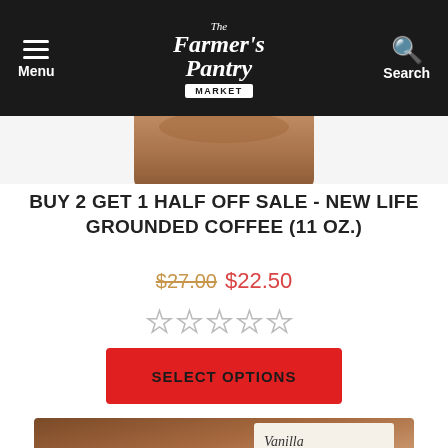The Farmer's Pantry Market — Menu | Search
[Figure (photo): Partial view of a brown coffee bag product image]
BUY 2 GET 1 HALF OFF SALE - NEW LIFE GROUNDED COFFEE (11 OZ.)
$27.00 $22.50
[Figure (other): Five empty star rating icons]
SELECT OPTIONS
[Figure (photo): Partial view of New Life Coffee Vanilla Caramel Themed Coffee box]